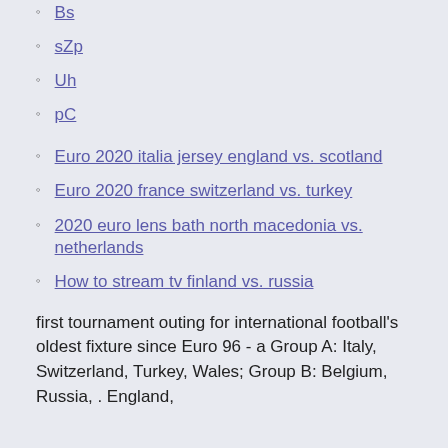Bs
sZp
Uh
pC
Euro 2020 italia jersey england vs. scotland
Euro 2020 france switzerland vs. turkey
2020 euro lens bath north macedonia vs. netherlands
How to stream tv finland vs. russia
first tournament outing for international football's oldest fixture since Euro 96 - a Group A: Italy, Switzerland, Turkey, Wales; Group B: Belgium, Russia, . England,